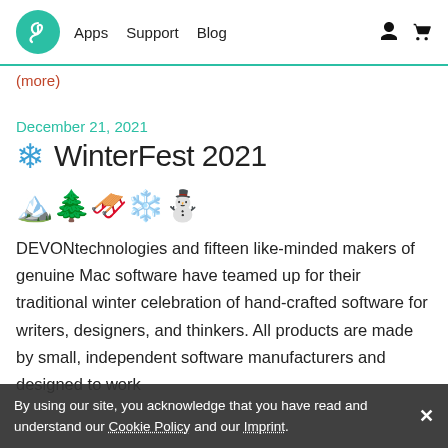Apps  Support  Blog
(more)
December 21, 2021
❄ WinterFest 2021
[Figure (illustration): Row of five winter/holiday emoji: snowy mountain, evergreen tree, red sleigh, snowflake, snowman]
DEVONtechnologies and fifteen like-minded makers of genuine Mac software have teamed up for their traditional winter celebration of hand-crafted software for writers, designers, and thinkers. All products are made by small, independent software manufacturers and designed to work
By using our site, you acknowledge that you have read and understand our Cookie Policy and our Imprint. ✕